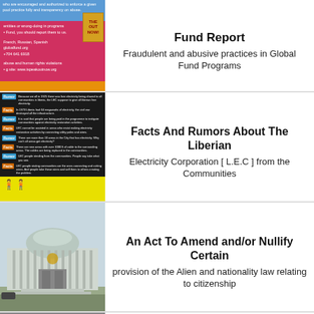[Figure (illustration): Global Fund hotline poster with blue header, pink/red background listing languages and contact info, and orange footer strip]
Fund Report
Fraudulent and abusive practices in Global Fund Programs
[Figure (illustration): Fact and Rumor pamphlet about Liberian Electricity Corporation with black/teal fact boxes and yellow background with people icons]
Facts And Rumors About The Liberian
Electricity Corporation [ L.E.C ] from the Communities
[Figure (photo): Photo of a government building with circular dome roof and columns at the entrance]
An Act To Amend and/or Nullify Certain
provision of the Alien and nationality law relating to citizenship
[Figure (photo): Partial photo at bottom, cut off]